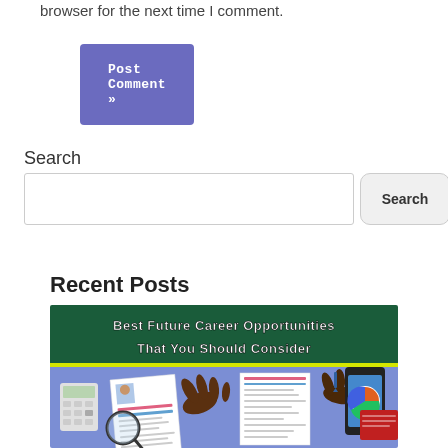browser for the next time I comment.
Post Comment »
Search
Search
Recent Posts
[Figure (illustration): Banner image with text 'Best Future Career Opportunities That You Should Consider' on green/dark background, below showing illustrated hands pointing at resumes and documents on a blue/purple desk surface with calculator and phone.]